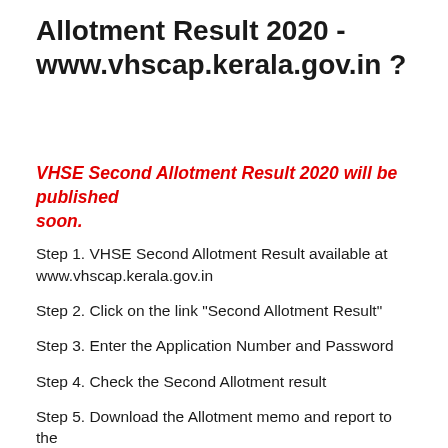Allotment Result 2020 - www.vhscap.kerala.gov.in ?
VHSE Second Allotment Result 2020 will be published soon.
Step 1. VHSE Second Allotment Result available at www.vhscap.kerala.gov.in
Step 2. Click on the link "Second Allotment Result"
Step 3. Enter the Application Number and Password
Step 4. Check the Second Allotment result
Step 5. Download the Allotment memo and report to the